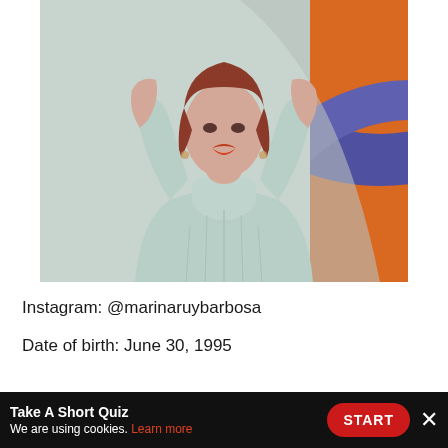[Figure (photo): A woman with red/auburn hair wearing a light mint/gray turtleneck cable-knit sweater, arms raised above head, photographed against an orange and blue/purple circular abstract background]
Instagram: @marinaruybarbosa
Date of birth: June 30, 1995
Take A Short Quiz
We are using cookies. Learn more
START